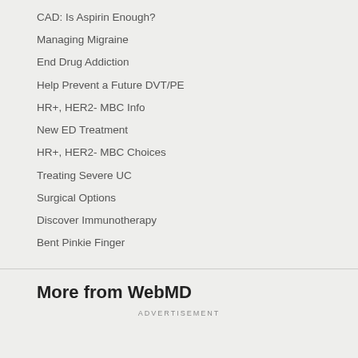CAD: Is Aspirin Enough?
Managing Migraine
End Drug Addiction
Help Prevent a Future DVT/PE
HR+, HER2- MBC Info
New ED Treatment
HR+, HER2- MBC Choices
Treating Severe UC
Surgical Options
Discover Immunotherapy
Bent Pinkie Finger
More from WebMD
ADVERTISEMENT